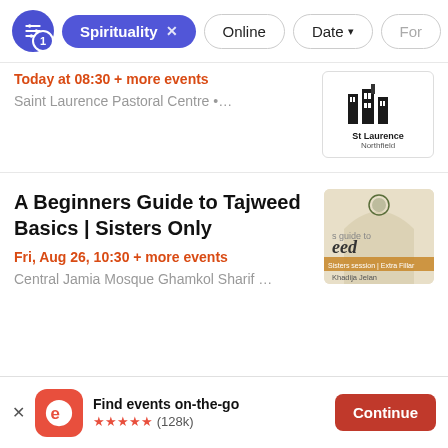Filter bar: Spirituality (active), Online, Date, Form...
Today at 08:30 + more events
Saint Laurence Pastoral Centre •…
[Figure (logo): St Laurence Northfield logo]
A Beginners Guide to Tajweed Basics | Sisters Only
Fri, Aug 26, 10:30 + more events
Central Jamia Mosque Ghamkol Sharif …
[Figure (photo): Tajweed book cover - guide to eed, Sisters session, Khadija Jelan]
Find events on-the-go
★★★★★ (128k)